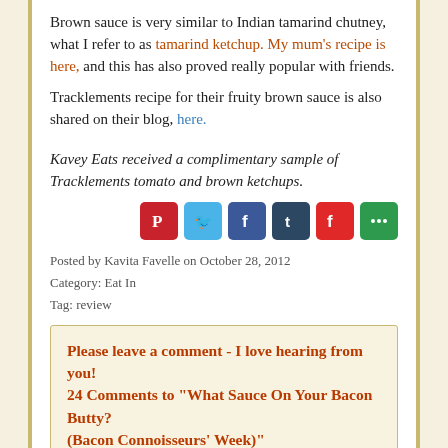Brown sauce is very similar to Indian tamarind chutney, what I refer to as tamarind ketchup. My mum's recipe is here, and this has also proved really popular with friends.

Tracklements recipe for their fruity brown sauce is also shared on their blog, here.
Kavey Eats received a complimentary sample of Tracklements tomato and brown ketchups.
[Figure (infographic): Social sharing buttons row: Pinterest (red), Twitter (blue), Facebook (dark blue), Tumblr (navy), Flipboard (red), More (green)]
Posted by Kavita Favelle on October 28, 2012
Category: Eat In
Tag: review
Please leave a comment - I love hearing from you!
24 Comments to "What Sauce On Your Bacon Butty? (Bacon Connoisseurs' Week)"
1. Lynne